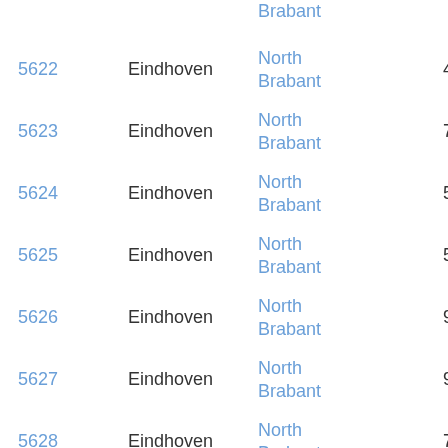| Postal code | City | Province | Population | Density |
| --- | --- | --- | --- | --- |
|  |  | Brabant |  | km² |
| 5622 | Eindhoven | North Brabant | 4,192 | 1.1... km² |
| 5623 | Eindhoven | North Brabant | 7,960 | 1.8... km² |
| 5624 | Eindhoven | North Brabant | 5,020 | 1.7... km² |
| 5625 | Eindhoven | North Brabant | 5,805 | 1.6... km² |
| 5626 | Eindhoven | North Brabant | 9,020 | 3.5... km² |
| 5627 | Eindhoven | North Brabant | 9,246 | 2.7... km² |
| 5628 | Eindhoven | North Brabant | 7,783 | 2.0... km² |
|  |  | North |  | 2.2... |